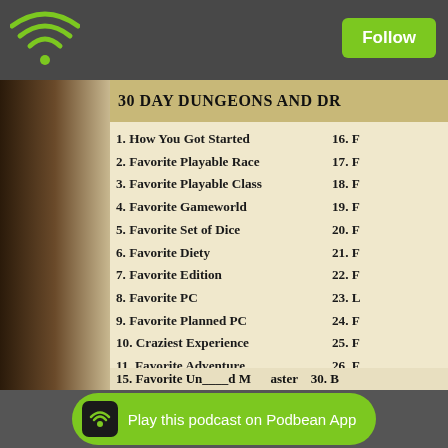[Figure (screenshot): Podbean app top navigation bar with WiFi/podcast icon and Follow button]
[Figure (screenshot): 30 Day Dungeons and Dragons challenge list showing items 1-14 on left and items 16-30 partially visible on right]
1. How You Got Started
2. Favorite Playable Race
3. Favorite Playable Class
4. Favorite Gameworld
5. Favorite Set of Dice
6. Favorite Diety
7. Favorite Edition
8. Favorite PC
9. Favorite Planned PC
10. Craziest Experience
11. Favorite Adventure
12. Favorite Dungeon
13. Favorite Trap/Puzzle
14. Favorite NPC
16. F...
17. F...
18. F...
19. F...
20. F...
21. F...
22. F...
23. L...
24. F...
25. F...
26. F...
27. F...
28. F...
29. F...
30. B...
Play this podcast on Podbean App